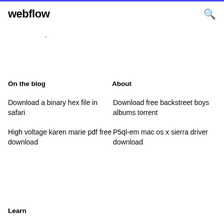webflow
.
On the blog
About
Download a binary hex file in safari
Download free backstreet boys albums torrent
High voltage karen marie pdf free download
P5ql-em mac os x sierra driver download
Learn